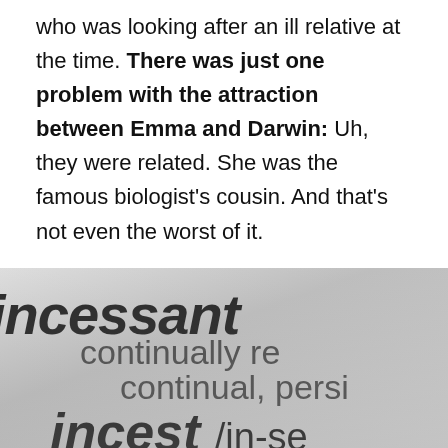who was looking after an ill relative at the time. There was just one problem with the attraction between Emma and Darwin: Uh, they were related. She was the famous biologist's cousin. And that's not even the worst of it.
[Figure (photo): Close-up photograph of a dictionary page showing the word 'incessant' in bold italic at the top, with definitions including 'continually re...', 'continual, persi...' below, and the word 'incest /in-se' visible at the bottom, all in black text on a light grey background.]